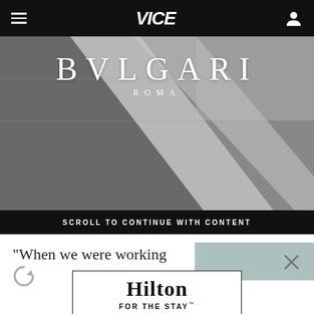VICE
[Figure (photo): Bulgari Roma advertisement over a black and white street/crosswalk photograph. BVLGARI ROMA logo in white serif text overlaid on the image.]
SCROLL TO CONTINUE WITH CONTENT
"When we were working
[Figure (photo): Small thumbnail image with teal/grey tones partially visible]
[Figure (logo): Hilton FOR THE STAY advertisement with LEARN MORE button]